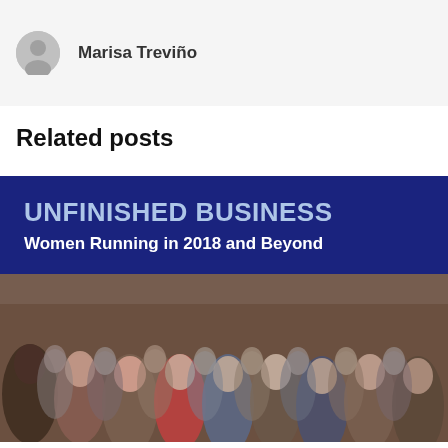Marisa Treviño
Related posts
[Figure (illustration): Banner image with dark navy background showing 'UNFINISHED BUSINESS Women Running in 2018 and Beyond' text overlay on a crowd of smiling women]